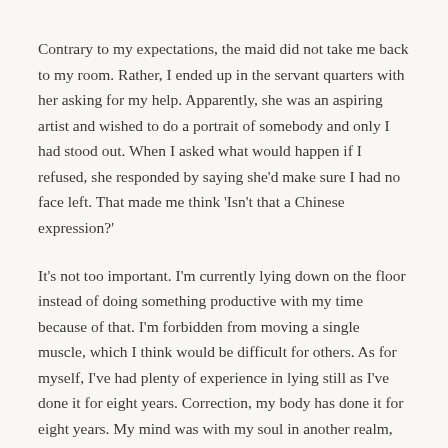Contrary to my expectations, the maid did not take me back to my room. Rather, I ended up in the servant quarters with her asking for my help. Apparently, she was an aspiring artist and wished to do a portrait of somebody and only I had stood out. When I asked what would happen if I refused, she responded by saying she'd make sure I had no face left. That made me think 'Isn't that a Chinese expression?'
It's not too important. I'm currently lying down on the floor instead of doing something productive with my time because of that. I'm forbidden from moving a single muscle, which I think would be difficult for others. As for myself, I've had plenty of experience in lying still as I've done it for eight years. Correction, my body has done it for eight years. My mind was with my soul in another realm, being active.
Now then, I need to arrange my plans for this world.